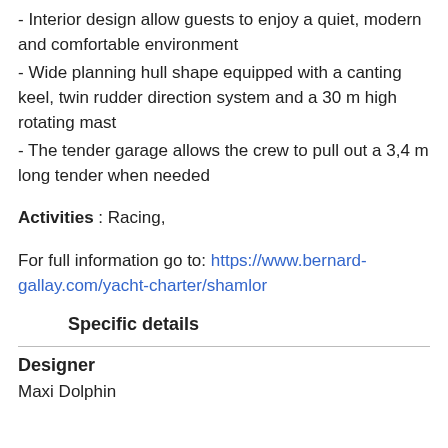- Interior design allow guests to enjoy a quiet, modern and comfortable environment
- Wide planning hull shape equipped with a canting keel, twin rudder direction system and a 30 m high rotating mast
- The tender garage allows the crew to pull out a 3,4 m long tender when needed
Activities : Racing,
For full information go to: https://www.bernard-gallay.com/yacht-charter/shamlor
Specific details
Designer
Maxi Dolphin